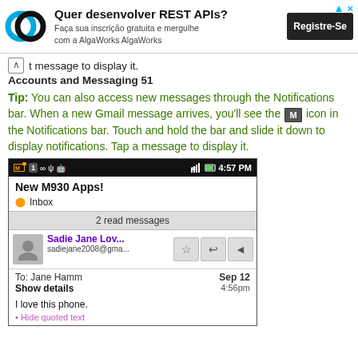[Figure (screenshot): Advertisement banner for AlgaWorks REST APIs course with logo, text and Register button]
t message to display it.
Accounts and Messaging 51
Tip: You can also access new messages through the Notifications bar. When a new Gmail message arrives, you'll see the [M] icon in the Notifications bar. Touch and hold the bar and slide it down to display notifications. Tap a message to display it.
[Figure (screenshot): Android phone screenshot showing Gmail inbox with message from Sadie Jane Lov... to Jane Hamm, dated Sep 12 4:56pm, body: I love this phone. Hide quoted text link at bottom.]